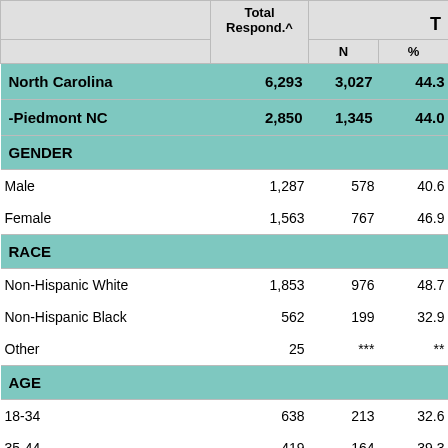|  | Total Respond.^ | N | % |
| --- | --- | --- | --- |
| North Carolina | 6,293 | 3,027 | 44.3 |
| -Piedmont NC | 2,850 | 1,345 | 44.0 |
| GENDER |  |  |  |
| Male | 1,287 | 578 | 40.6 |
| Female | 1,563 | 767 | 46.9 |
| RACE |  |  |  |
| Non-Hispanic White | 1,853 | 976 | 48.7 |
| Non-Hispanic Black | 562 | 199 | 32.9 |
| Other | 25 | *** | ** |
| AGE |  |  |  |
| 18-34 | 638 | 213 | 32.6 |
| 35-44 | 419 | 164 | 39.3 |